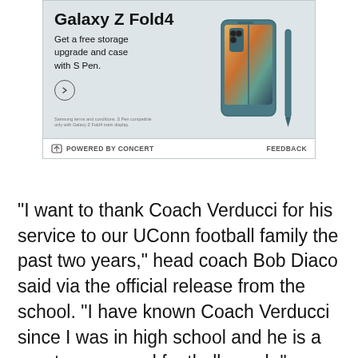[Figure (screenshot): Samsung Galaxy Z Fold4 advertisement banner showing the phone with text 'Get a free storage upgrade and case with S Pen.' and a circular arrow button. Powered by Concert footer with Feedback link.]
“I want to thank Coach Verducci for his service to our UConn football family the past two years,” head coach Bob Diaco said via the official release from the school. “I have known Coach Verducci since I was in high school and he is a great person and football coach.”